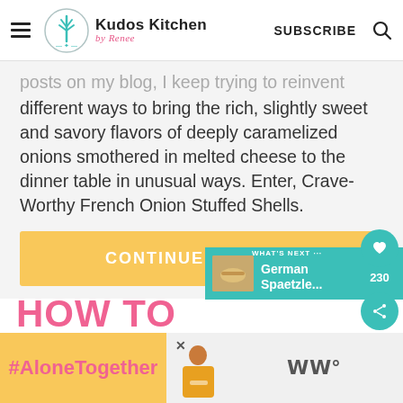Kudos Kitchen by Renee — SUBSCRIBE
posts on my blog, I keep trying to reinvent different ways to bring the rich, slightly sweet and savory flavors of deeply caramelized onions smothered in melted cheese to the dinner table in unusual ways. Enter, Crave-Worthy French Onion Stuffed Shells.
CONTINUE READING
HOW TO
[Figure (screenshot): What's next widget showing German Spaetzle thumbnail in teal background]
[Figure (screenshot): Bottom advertisement banner showing #AloneTogether text and a person cooking photo]